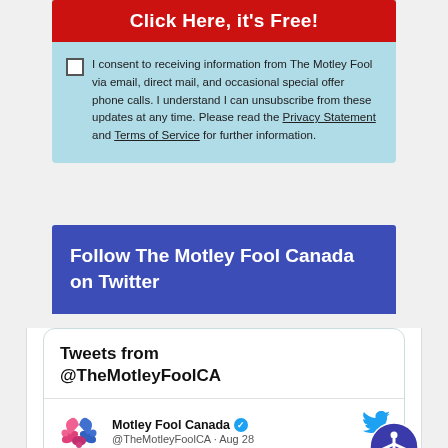Click Here, it's Free!
I consent to receiving information from The Motley Fool via email, direct mail, and occasional special offer phone calls. I understand I can unsubscribe from these updates at any time. Please read the Privacy Statement and Terms of Service for further information.
Follow The Motley Fool Canada on Twitter
Tweets from @TheMotleyFoolCA
Motley Fool Canada @TheMotleyFoolCA · Aug 28